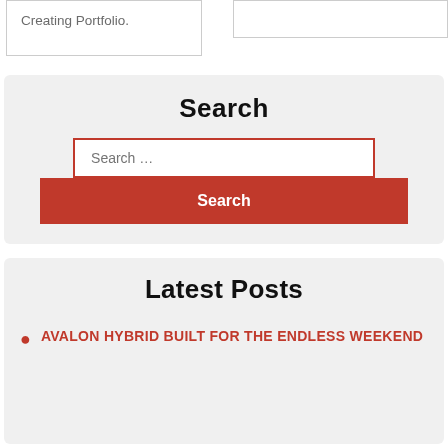Creating Portfolio.
Search
Search …
Search
Latest Posts
AVALON HYBRID BUILT FOR THE ENDLESS WEEKEND